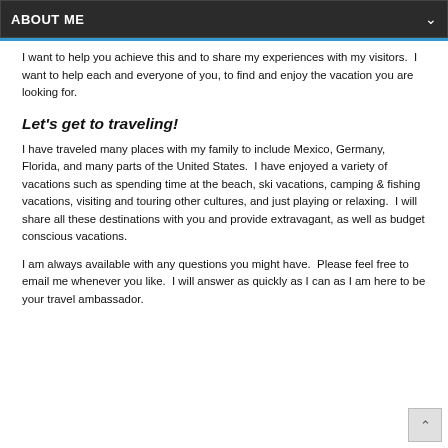ABOUT ME
I want to help you achieve this and to share my experiences with my visitors.  I want to help each and everyone of you, to find and enjoy the vacation you are looking for.
Let's get to traveling!
I have traveled many places with my family to include Mexico, Germany, Florida, and many parts of the United States.  I have enjoyed a variety of vacations such as spending time at the beach, ski vacations, camping & fishing vacations, visiting and touring other cultures, and just playing or relaxing.  I will share all these destinations with you and provide extravagant, as well as budget conscious vacations.
I am always available with any questions you might have.  Please feel free to email me whenever you like.  I will answer as quickly as I can as I am here to be your travel ambassador.